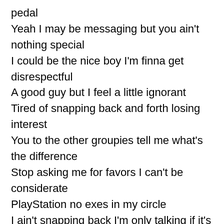pedal
Yeah I may be messaging but you ain't nothing special
I could be the nice boy I'm finna get disrespectful
A good guy but I feel a little ignorant
Tired of snapping back and forth losing interest
You to the other groupies tell me what's the difference
Stop asking me for favors I can't be considerate
PlayStation no exes in my circle
I ain't snapping back I'm only talking if it's verbal
I be spitting so hot you can see it in the thermal
He said "What's your intentions" I said "Shut up